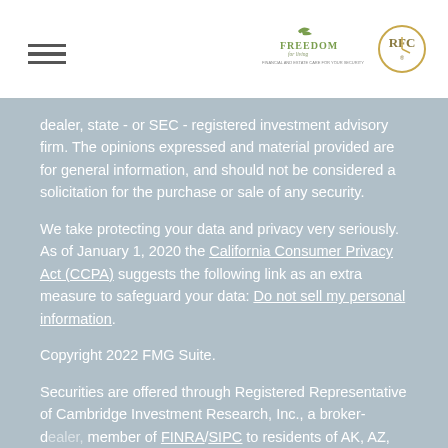Freedom for Living / RFC logos and navigation
dealer, state - or SEC - registered investment advisory firm. The opinions expressed and material provided are for general information, and should not be considered a solicitation for the purchase or sale of any security.
We take protecting your data and privacy very seriously. As of January 1, 2020 the California Consumer Privacy Act (CCPA) suggests the following link as an extra measure to safeguard your data: Do not sell my personal information.
Copyright 2022 FMG Suite.
Securities are offered through Registered Representative of Cambridge Investment Research, Inc., a broker-dealer, member of FINRA/SIPC to residents of AK, AZ, CA, CO, FL, GA, ID, IA, KS, KY, MA, MI, MT, NV, NJ, NC, OK, OR,